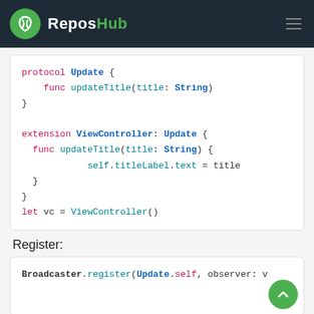ReposHub
protocol Update {
    func updateTitle(title: String)
}

extension ViewController: Update {
    func updateTitle(title: String) {
            self.titleLabel.text = title
    }
}
let vc = ViewController()
Register:
Broadcaster.register(Update.self, observer: v
Broadcast: